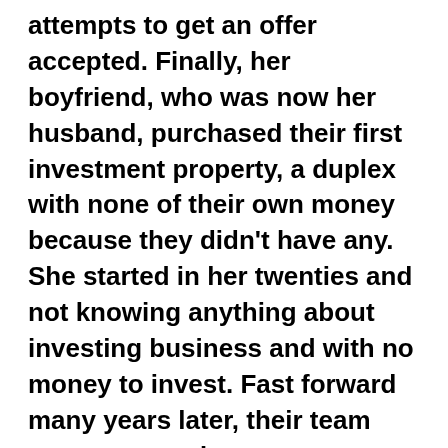attempts to get an offer accepted. Finally, her boyfriend, who was now her husband, purchased their first investment property, a duplex with none of their own money because they didn't have any. She started in her twenties and not knowing anything about investing business and with no money to invest. Fast forward many years later, their team now owns and manages millions of dollars of real estate. What most people don't know is that this evolution came with lots of lows-lows, heartache and challenges. As someone who has earned